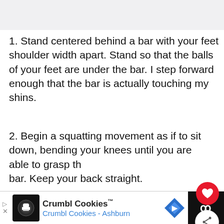1. Stand centered behind a bar with your feet shoulder width apart. Stand so that the balls of your feet are under the bar. I step forward enough that the bar is actually touching my shins.
2. Begin a squatting movement as if to sit down, bending your knees until you are able to grasp the bar. Keep your back straight.
3. When grasping the bar, the grip is up to you, but I prefer to use an underhand grip on my dominant (right) hand and an overhand grip for my left.
Crumbl Cookies™ Crumbl Cookies - Ashburn